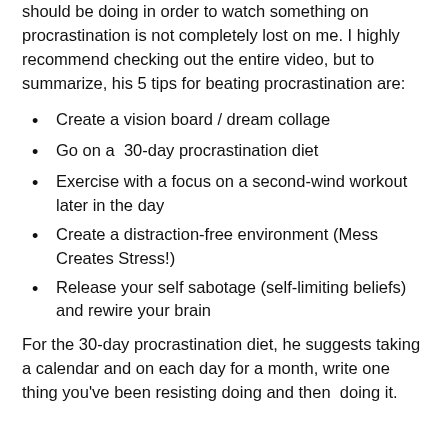should be doing in order to watch something on procrastination is not completely lost on me. I highly recommend checking out the entire video, but to summarize, his 5 tips for beating procrastination are:
Create a vision board / dream collage
Go on a  30-day procrastination diet
Exercise with a focus on a second-wind workout later in the day
Create a distraction-free environment (Mess Creates Stress!)
Release your self sabotage (self-limiting beliefs) and rewire your brain
For the 30-day procrastination diet, he suggests taking a calendar and on each day for a month, write one thing you've been resisting doing and then  doing it.